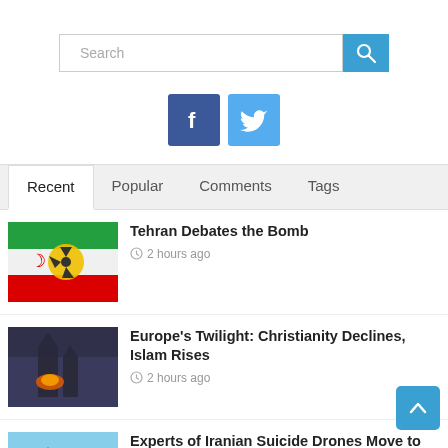[Figure (screenshot): Search bar with blue search button]
[Figure (infographic): Facebook and Twitter social media icon buttons]
Recent | Popular | Comments | Tags
[Figure (photo): Iranian flag with nuclear symbol]
Tehran Debates the Bomb
2 hours ago
[Figure (photo): Notre Dame cathedral with fire]
Europe's Twilight: Christianity Declines, Islam Rises
2 hours ago
[Figure (photo): Drone in desert landscape]
Experts of Iranian Suicide Drones Move to Syrian Hama
1 day ago
[Figure (photo): Partially visible image]
Syrian Brotherhood: We will not get Involved in